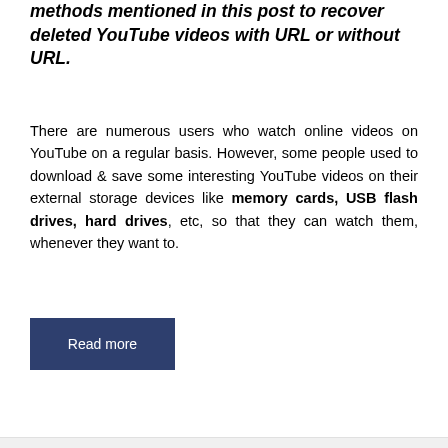methods mentioned in this post to recover deleted YouTube videos with URL or without URL.
There are numerous users who watch online videos on YouTube on a regular basis. However, some people used to download & save some interesting YouTube videos on their external storage devices like memory cards, USB flash drives, hard drives, etc, so that they can watch them, whenever they want to.
Read more